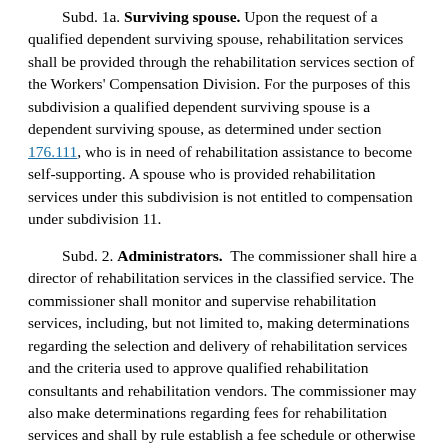Subd. 1a. Surviving spouse. Upon the request of a qualified dependent surviving spouse, rehabilitation services shall be provided through the rehabilitation services section of the Workers' Compensation Division. For the purposes of this subdivision a qualified dependent surviving spouse is a dependent surviving spouse, as determined under section 176.111, who is in need of rehabilitation assistance to become self-supporting. A spouse who is provided rehabilitation services under this subdivision is not entitled to compensation under subdivision 11.
Subd. 2. Administrators. The commissioner shall hire a director of rehabilitation services in the classified service. The commissioner shall monitor and supervise rehabilitation services, including, but not limited to, making determinations regarding the selection and delivery of rehabilitation services and the criteria used to approve qualified rehabilitation consultants and rehabilitation vendors. The commissioner may also make determinations regarding fees for rehabilitation services and shall by rule establish a fee schedule or otherwise limit fees charged by qualified rehabilitation consultants and vendors. The commissioner shall annually review the fees and give notice of any